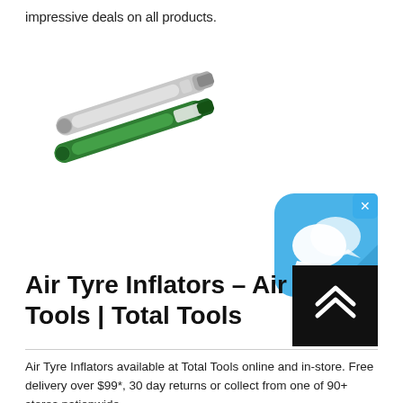impressive deals on all products.
[Figure (photo): Two air tyre inflator tools — one grey/silver and one green — shown diagonally overlapping]
[Figure (screenshot): Blue chat/messaging app icon with white speech bubble icons and an X close button in the top-right corner]
[Figure (other): Black square scroll-to-top button with white double upward chevron arrows]
Air Tyre Inflators – Air Tools | Total Tools
Air Tyre Inflators available at Total Tools online and in-store. Free delivery over $99*, 30 day returns or collect from one of 90+ stores nationwide.